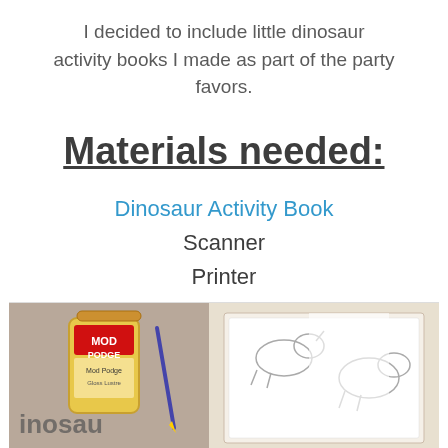I decided to include little dinosaur activity books I made as part of the party favors.
Materials needed:
Dinosaur Activity Book
Scanner
Printer
Mod Podge
Paint brush
PowerPoint or Openoffice Impress
4 sheets of 8 1/2" x 14" paper per book
[Figure (photo): Photo showing Mod Podge container on the left side and activity book pages with dinosaur drawings on the right side, on a table.]